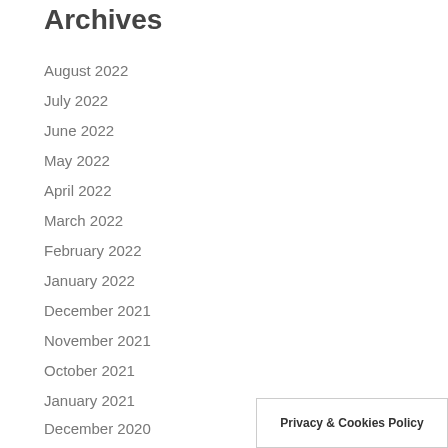Archives
August 2022
July 2022
June 2022
May 2022
April 2022
March 2022
February 2022
January 2022
December 2021
November 2021
October 2021
January 2021
December 2020
November 2020
Privacy & Cookies Policy